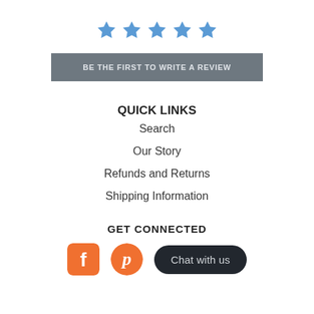[Figure (illustration): Five blue star icons in a row representing a rating system]
BE THE FIRST TO WRITE A REVIEW
QUICK LINKS
Search
Our Story
Refunds and Returns
Shipping Information
GET CONNECTED
[Figure (illustration): Facebook icon (orange rounded square with white F), Pinterest icon (orange circle with white P), and a dark pill-shaped Chat with us button]